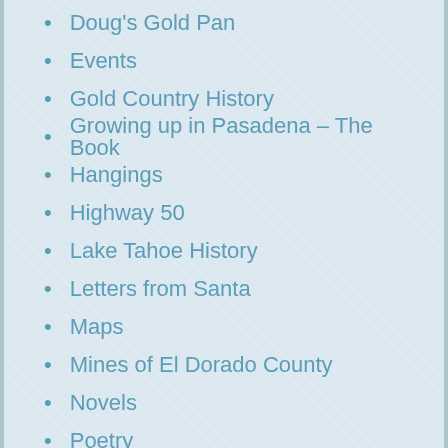Doug's Gold Pan
Events
Gold Country History
Growing up in Pasadena – The Book
Hangings
Highway 50
Lake Tahoe History
Letters from Santa
Maps
Mines of El Dorado County
Novels
Poetry
Post Offices of El Dorado County
Restaurant Reviews
Road Names of El Dorado County
Sacramento Valley Railroad
Squaw Hollow Sensation
Steppin' Out
This and That